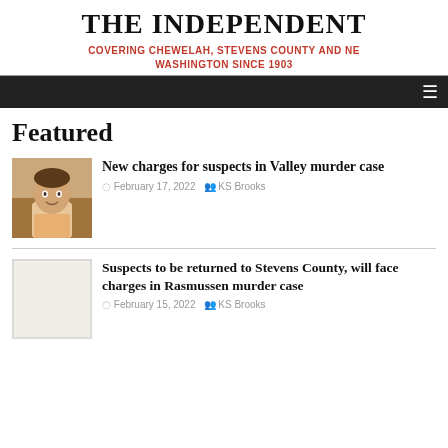THE INDEPENDENT
COVERING CHEWELAH, STEVENS COUNTY AND NE WASHINGTON SINCE 1903
Featured
New charges for suspects in Valley murder case
February 17, 2022  KS Brooks
Suspects to be returned to Stevens County, will face charges in Rasmussen murder case
February 15, 2022  KS Brooks